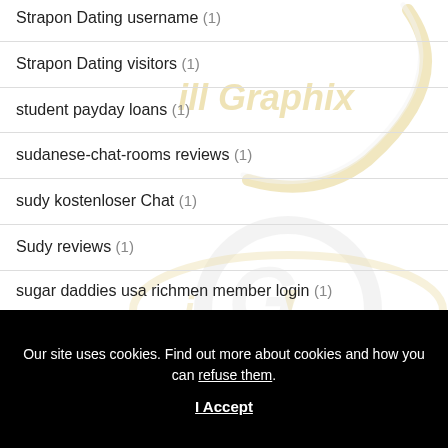Strapon Dating username (1)
Strapon Dating visitors (1)
student payday loans (1)
sudanese-chat-rooms reviews (1)
sudy kostenloser Chat (1)
Sudy reviews (1)
sugar daddies usa richmen member login (1)
Our site uses cookies. Find out more about cookies and how you can refuse them.
I Accept